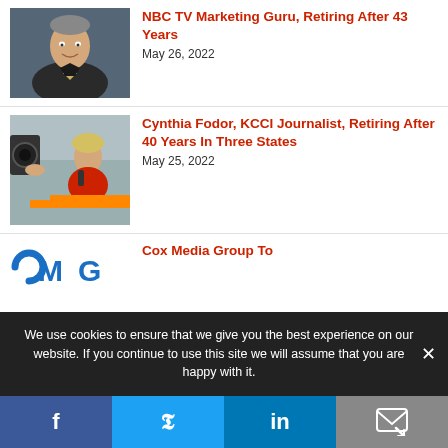NBC TV Marketing Guru, Retiring After 43 Years
May 26, 2022
Cynthia Fodor, KCCI Journalist, Retiring After 40 Years In Three States
May 25, 2022
Cox Media Group To
We use cookies to ensure that we give you the best experience on our website. If you continue to use this site we will assume that you are happy with it.